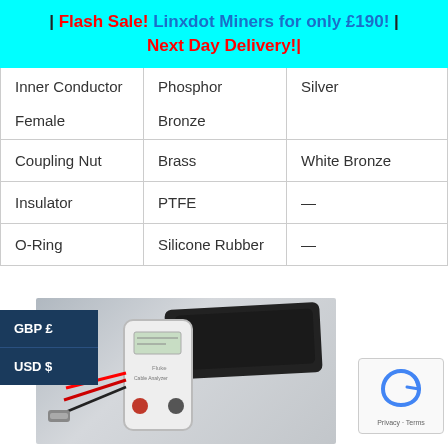| Flash Sale! Linxdot Miners for only £190! | Next Day Delivery!|
| Inner Conductor Female | Phosphor Bronze | Silver |
| --- | --- | --- |
| Coupling Nut | Brass | White Bronze |
| Insulator | PTFE | — |
| O-Ring | Silicone Rubber | — |
[Figure (photo): Handheld electronic testing device with red wires and probes, next to a black carrying case]
GBP £
USD $
Privacy · Terms